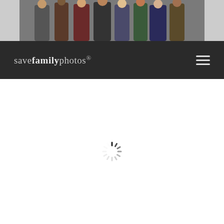[Figure (photo): Group photo of multiple people standing together, cropped at top]
savefamilyphotos.
[Figure (other): Loading spinner icon in center of white page area]